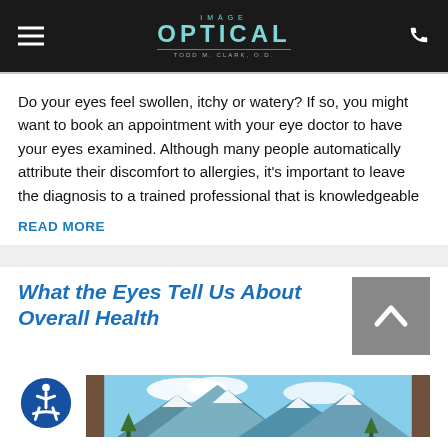IMAGE OPTICAL — TODD M. CLARK, O.D.
Do your eyes feel swollen, itchy or watery? If so, you might want to book an appointment with your eye doctor to have your eyes examined. Although many people automatically attribute their discomfort to allergies, it's important to leave the diagnosis to a trained professional that is knowledgeable
READ MORE
What the Eyes Tell Us About Overall Health
[Figure (photo): Mountain landscape with snow-capped peaks viewed through open wooden window shutters]
[Figure (illustration): Accessibility icon — wheelchair user symbol in blue circle]